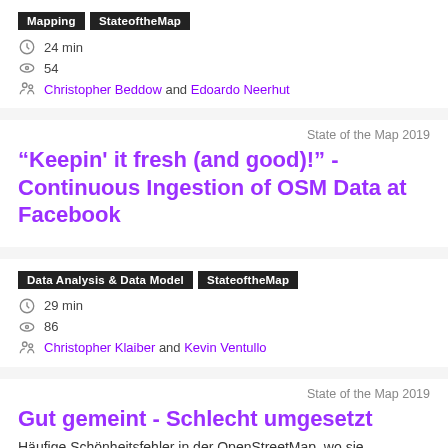Mapping | StateoftheMap
24 min
54
Christopher Beddow and Edoardo Neerhut
State of the Map 2019
“Keepin' it fresh (and good)!” - Continuous Ingestion of OSM Data at Facebook
Data Analysis & Data Model | StateoftheMap
29 min
86
Christopher Klaiber and Kevin Ventullo
State of the Map 2019
Gut gemeint - Schlecht umgesetzt
Häufige Schönheitsfehler in der OpenStreetMap, wo sie...